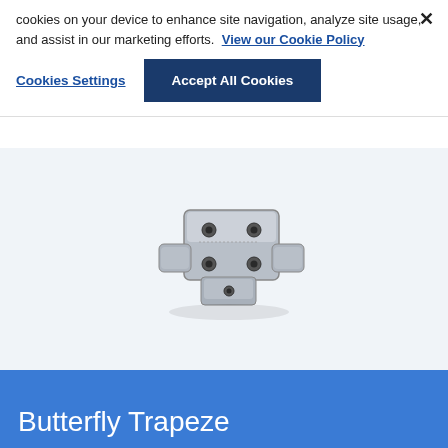cookies on your device to enhance site navigation, analyze site usage, and assist in our marketing efforts. View our Cookie Policy
Cookies Settings | Accept All Cookies
[Figure (photo): Photo of a metal butterfly trapeze mechanical component, silver/grey in color, with multiple holes and a compact block-like shape.]
Butterfly Trapeze